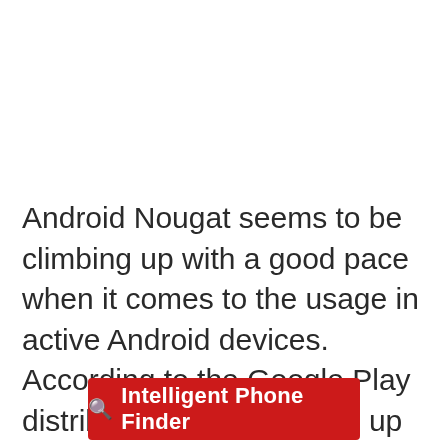Android Nougat seems to be climbing up with a good pace when it comes to the usage in active Android devices. According to the Google Play distribution data collected up to 5th June 2017, Android Nougat is now running on 9.5 percent of all Android devices. The Android version has shown a good progress since April where it was running on 7.1 percent of all android devi...
[Figure (other): Red banner button with search icon and text 'Intelligent Phone Finder']